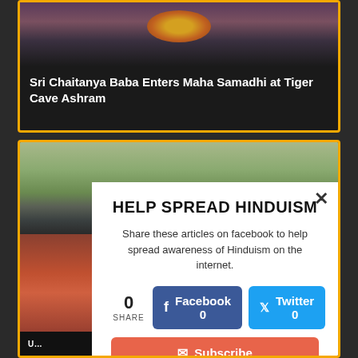[Figure (photo): Top card with photo of religious offering with flowers and marigolds in dark/purple tones]
Sri Chaitanya Baba Enters Maha Samadhi at Tiger Cave Ashram
[Figure (photo): Second card with outdoor photo showing green trees and a monument/structure]
HELP SPREAD HINDUISM
Share these articles on facebook to help spread awareness of Hinduism on the internet.
0 SHARE  Facebook 0  Twitter 0  Subscribe
U... (partially visible bottom bar text)